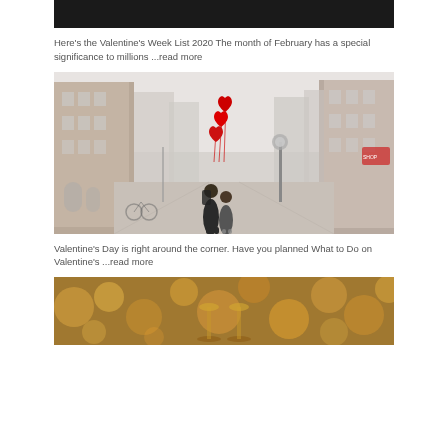[Figure (photo): Dark/black cropped image at the top, partial view of a Valentine's article header image]
Here's the Valentine's Week List 2020 The month of February has a special significance to millions ...read more
[Figure (photo): Couple kissing in a European cobblestone street, holding red heart-shaped balloons]
Valentine's Day is right around the corner. Have you planned What to Do on Valentine's ...read more
[Figure (photo): Blurred bokeh background with warm golden/orange tones, partial view of a Valentine's related image]